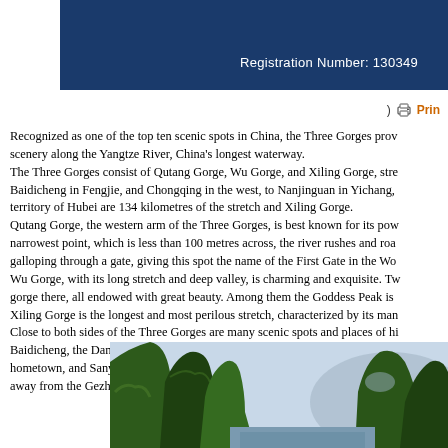Registration Number: 130349
Recognized as one of the top ten scenic spots in China, the Three Gorges prov scenery along the Yangtze River, China's longest waterway. The Three Gorges consist of Qutang Gorge, Wu Gorge, and Xiling Gorge, stre Baidicheng in Fengjie, and Chongqing in the west, to Nanjinguan in Yichang, territory of Hubei are 134 kilometres of the stretch and Xiling Gorge. Qutang Gorge, the western arm of the Three Gorges, is best known for its pow narrowest point, which is less than 100 metres across, the river rushes and roa galloping through a gate, giving this spot the name of the First Gate in the Wo Wu Gorge, with its long stretch and deep valley, is charming and exquisite. Tw gorge there, all endowed with great beauty. Among them the Goddess Peak is Xiling Gorge is the longest and most perilous stretch, characterized by its man Close to both sides of the Three Gorges are many scenic spots and places of hi Baidicheng, the Daning River and Three Little Gorges, Shennong Brook, Qu Y hometown, and Sanyou Cave. The Three Gorges Dam is located at the mouth away from the Gezhou Dam downstream.
[Figure (photo): Photograph of the Three Gorges showing steep green mountain cliffs rising from a river valley with misty mountains in the background.]